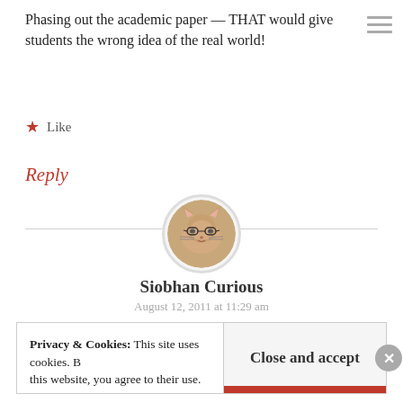Phasing out the academic paper — THAT would give students the wrong idea of the real world!
★ Like
Reply
[Figure (photo): Circular avatar image of a cat wearing glasses]
Siobhan Curious
August 12, 2011 at 11:29 am
Privacy & Cookies: This site uses cookies. By continuing to use this website, you agree to their use. To find out more, including how to control cookies, see here: Cookie Policy
Close and accept